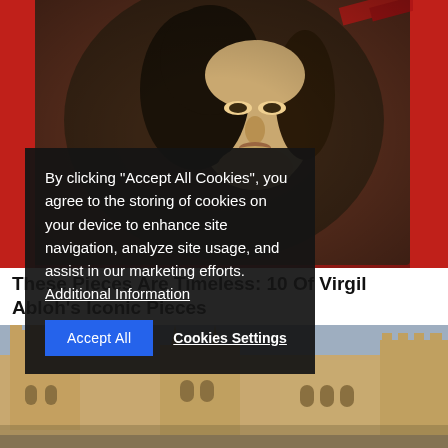[Figure (photo): Close-up photo of a fabric or textile item printed with the Mona Lisa image, laid on a red background. The Mona Lisa face and dark background of the painting are visible.]
By clicking "Accept All Cookies", you agree to the storing of cookies on your device to enhance site navigation, analyze site usage, and assist in our marketing efforts. Additional Information
These Pieces Are Timeless: 10 Of Virgil Abloh's Iconic Pieces
[Figure (photo): Daytime photo of a large medieval stone castle or palace with pointed towers and crenellated walls, viewed from a low angle. The sky is overcast blue-grey.]